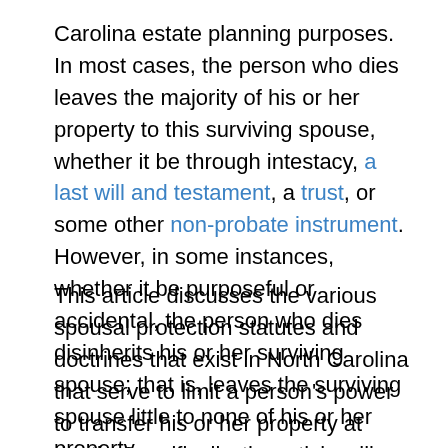Carolina estate planning purposes. In most cases, the person who dies leaves the majority of his or her property to this surviving spouse, whether it be through intestacy, a last will and testament, a trust, or some other non-probate instrument. However, in some instances, whether it be purposeful or accidental, the person who dies disinherits his or her surviving spouse; that is, leaves the surviving spouse little to none of his or her property.
This article discusses the various spousal protection statutes and doctrines that exist in North Carolina that serve to limit a person's power to transfer his or her property at death. Specifically, the article will examine the surviving